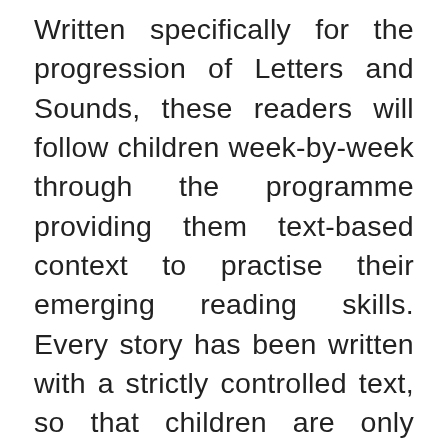Written specifically for the progression of Letters and Sounds, these readers will follow children week-by-week through the programme providing them text-based context to practise their emerging reading skills. Every story has been written with a strictly controlled text, so that children are only exposed to those letter sounds that they have previously learned. Furthermore, tricky words are only included after they have been introduced. Builds confidence in young readers as they master the phonics code. The fiction series uses bright and vibrant illustrations throughout to bring each story to life. Can also be used alongside other popular schemes as book-banded reading levels are provided. Library includes include 72 different